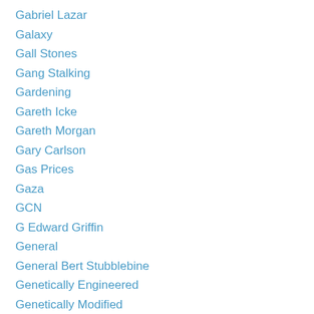Gabriel Lazar
Galaxy
Gall Stones
Gang Stalking
Gardening
Gareth Icke
Gareth Morgan
Gary Carlson
Gas Prices
Gaza
GCN
G Edward Griffin
General
General Bert Stubblebine
Genetically Engineered
Genetically Modified
Geocentric
Geoengineeering
Geoengineering
Geopolitics
George Bush